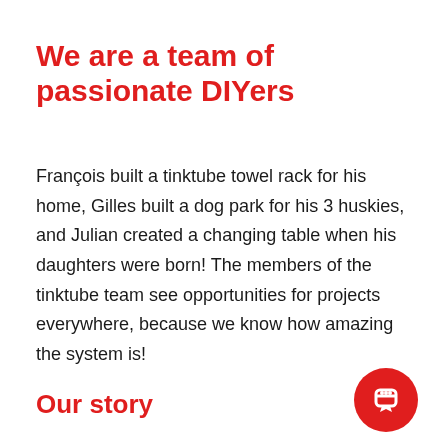We are a team of passionate DIYers
François built a tinktube towel rack for his home, Gilles built a dog park for his 3 huskies, and Julian created a changing table when his daughters were born! The members of the tinktube team see opportunities for projects everywhere, because we know how amazing the system is!
Our story